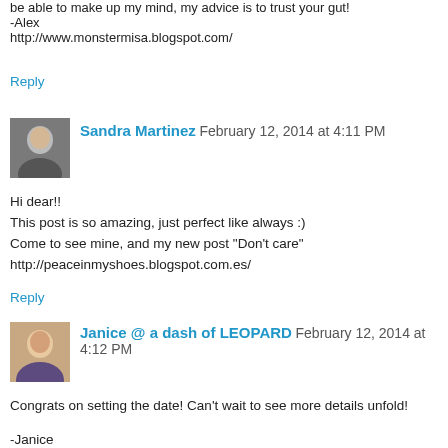be able to make up my mind, my advice is to trust your gut!
-Alex
http://www.monstermisa.blogspot.com/
Reply
Sandra Martinez February 12, 2014 at 4:11 PM
Hi dear!!
This post is so amazing, just perfect like always :)
Come to see mine, and my new post "Don't care"
http://peaceinmyshoes.blogspot.com.es/
Reply
Janice @ a dash of LEOPARD February 12, 2014 at 4:12 PM
Congrats on setting the date! Can't wait to see more details unfold!

-Janice